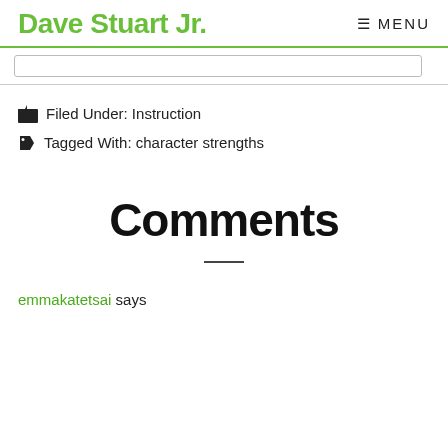Dave Stuart Jr.  ☰ MENU
Filed Under: Instruction
Tagged With: character strengths
Comments
emmakatetsai says